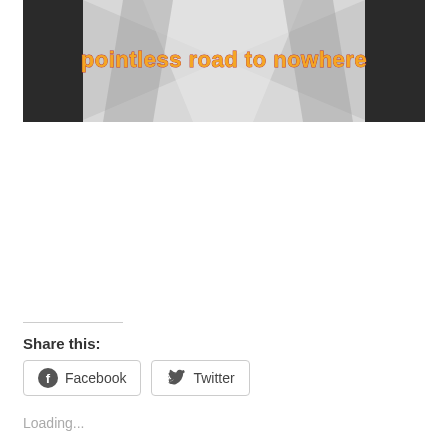[Figure (photo): Black and white photo of a snowy road with dark sides and white center, overlaid with orange/yellow bold text reading 'pointless road to nowhere']
Share this:
Facebook
Twitter
Loading...